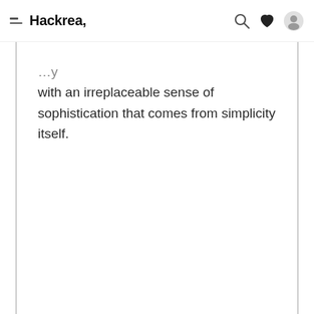Hackrea,
with an irreplaceable sense of sophistication that comes from simplicity itself.